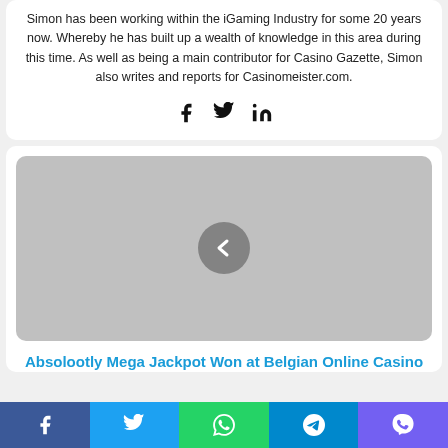Simon has been working within the iGaming Industry for some 20 years now. Whereby he has built up a wealth of knowledge in this area during this time. As well as being a main contributor for Casino Gazette, Simon also writes and reports for Casinomeister.com.
[Figure (infographic): Social media share icons: Facebook, Twitter, LinkedIn]
[Figure (photo): Gray placeholder image with a left-arrow navigation circle button in the center]
Absolootly Mega Jackpot Won at Belgian Online Casino
[Figure (infographic): Bottom share bar with Facebook, Twitter, WhatsApp, Telegram, and Viber icons]